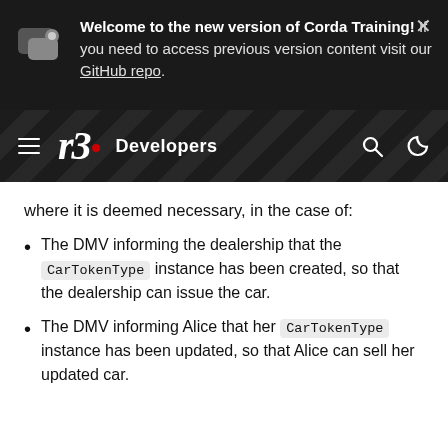[Figure (screenshot): Notification banner on dark background with chat bubble icon, text about new version of Corda Training, GitHub repo link, and close button]
[Figure (screenshot): r3 Developers navigation bar with hamburger menu, r3 logo with red dot, Developers label, search icon, and dark mode icon on dark diamond-pattern background]
where it is deemed necessary, in the case of:
The DMV informing the dealership that the CarTokenType instance has been created, so that the dealership can issue the car.
The DMV informing Alice that her CarTokenType instance has been updated, so that Alice can sell her updated car.